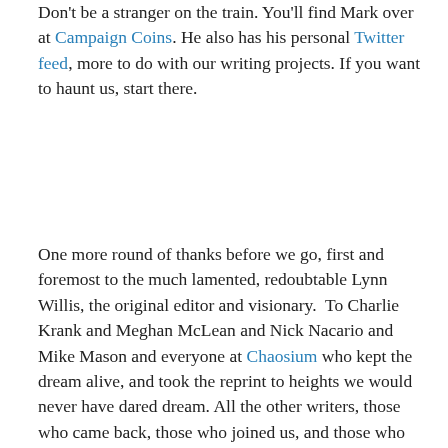Don't be a stranger on the train. You'll find Mark over at Campaign Coins. He also has his personal Twitter feed, more to do with our writing projects. If you want to haunt us, start there.
One more round of thanks before we go, first and foremost to the much lamented, redoubtable Lynn Willis, the original editor and visionary. To Charlie Krank and Meghan McLean and Nick Nacario and Mike Mason and everyone at Chaosium who kept the dream alive, and took the reprint to heights we would never have dared dream. All the other writers, those who came back, those who joined us, and those who wished us well: Bernard, Carl, Christian, Darren, David, Geoff, Hans-Christian, Marion, Matthew, Michael, Mike, Nick, Oscar, Paul, Paul, Phil, Richard & Russell.